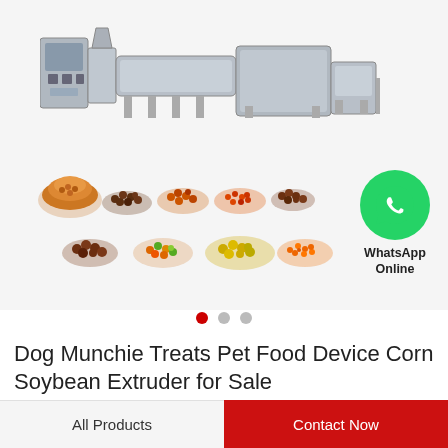[Figure (photo): Industrial pet food extrusion machine line (stainless steel equipment) shown above; multiple piles of various pet food kibble shapes and colors shown below in a grid arrangement]
[Figure (logo): WhatsApp green circle icon with white phone handset, labeled 'WhatsApp Online']
Dog Munchie Treats Pet Food Device Corn Soybean Extruder for Sale
All Products
Contact Now